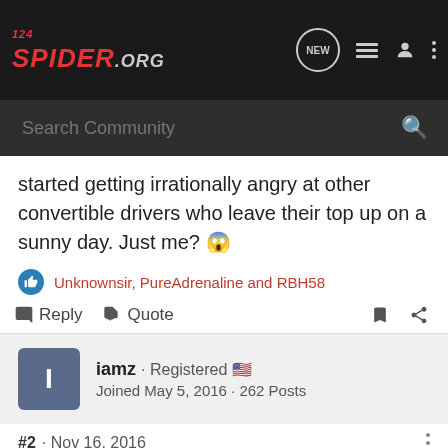[Figure (screenshot): 124Spider.org forum website navigation bar with logo, search bar, and icons]
started getting irrationally angry at other convertible drivers who leave their top up on a sunny day. Just me? 😱
Unknownsir, PureAdrenaline and RBH58
Reply  Quote
iamz · Registered 🇺🇸
Joined May 5, 2016 · 262 Posts
#2 · Nov 16, 2016
I don't get exactly angry, but I know where you're coming from. There aren't a lot of convertibles in Minnesota, but of those that I see, 9 out of 10 always have their tops up. It's a shame